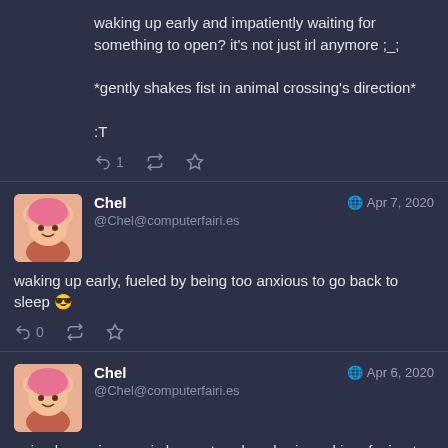waking up early and impatiently waiting for something to open? it's not just irl anymore ;_;
*gently shakes fist in animal crossing's direction*
:T
Chel @Chel@computerfairi.es Apr 7, 2020
waking up early, fueled by being too anxious to go back to sleep 😎
Chel @Chel@computerfairi.es Apr 6, 2020
animal crossing music has entered my brain and is refusing to leave